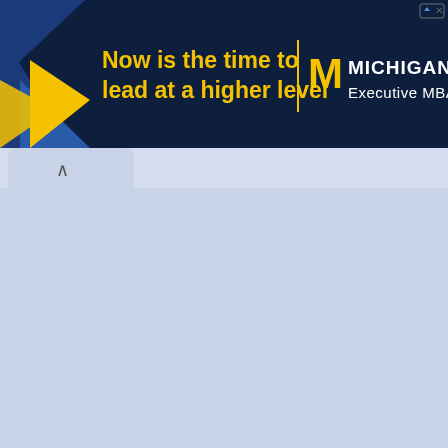[Figure (infographic): Michigan Ross Executive MBA advertisement banner. Dark navy background with yellow geometric triangle shapes on the left. Yellow bold text reads 'Now is the time to lead at a higher level'. Right side shows Michigan block M logo with yellow divider line, 'MICHIGAN ROSS' in white bold text, and 'Executive MBA' below it. Small ad indicator icon in top-right corner.]
[Figure (screenshot): Browser UI element showing a tab with a chevron/caret up arrow icon, light blue-gray background suggesting a browser interface below the advertisement banner.]